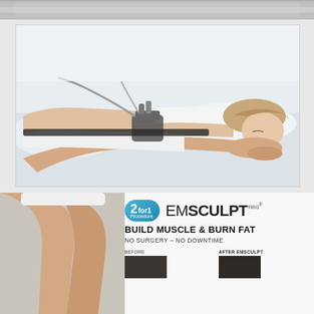[Figure (photo): Top cropped strip of woman lying on treatment bed, partial view]
[Figure (photo): Woman lying on treatment table on her side, smiling with eyes closed, wearing white activewear, with an Emsculpt NEO device applicator strapped to her hip/lower back area]
[Figure (photo): Bottom section showing partial torso of person in white underwear on left, and Emsculpt NEO promotional panel on right]
[Figure (infographic): Emsculpt NEO promotional badge: '2 for 1 Procedure' oval badge in teal/blue, followed by EMSCULPT neo® brand name, tagline BUILD MUSCLE & BURN FAT, subtext NO SURGERY – NO DOWNTIME, and before/after image thumbnails]